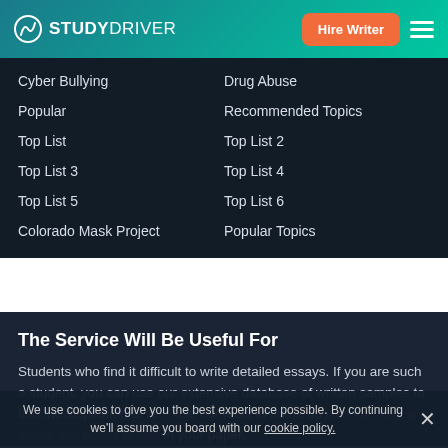STUDYDRIVER | Hire Writer
Cyber Bullying
Drug Abuse
Popular
Recommended Topics
Top List
Top List 2
Top List 3
Top List 4
Top List 5
Top List 6
Colorado Mask Project
Popular Topics
The Service Will Be Useful For
Students who find it difficult to write detailed essays. If you are such a student, you can use our extensive database of written samples to find the inspiration or re... use our tools to come up with interesting topics and points to use in your paper.
We use cookies to give you the best experience possible. By continuing we'll assume you board with our cookie policy.